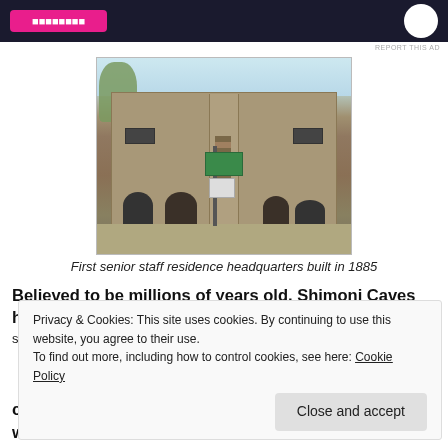[Figure (photo): Dark banner ad with pink button and white circle logo]
REPORT THIS AD
[Figure (photo): Photograph of first senior staff residence headquarters, a two-storey stone building with arched doorways and external staircase, built in 1885]
First senior staff residence headquarters built in 1885
Believed to be millions of years old, Shimoni Caves house gory
Privacy & Cookies: This site uses cookies. By continuing to use this website, you agree to their use.
To find out more, including how to control cookies, see here: Cookie Policy
Close and accept
coral polyps and bottles lying on the ground which were